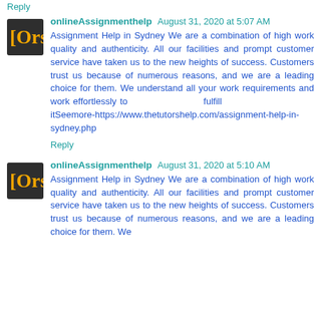Reply
onlineAssignmenthelp August 31, 2020 at 5:07 AM
Assignment Help in Sydney We are a combination of high work quality and authenticity. All our facilities and prompt customer service have taken us to the new heights of success. Customers trust us because of numerous reasons, and we are a leading choice for them. We understand all your work requirements and work effortlessly to fulfill itSeemore-https://www.thetutorshelp.com/assignment-help-in-sydney.php
Reply
onlineAssignmenthelp August 31, 2020 at 5:10 AM
Assignment Help in Sydney We are a combination of high work quality and authenticity. All our facilities and prompt customer service have taken us to the new heights of success. Customers trust us because of numerous reasons, and we are a leading choice for them. We